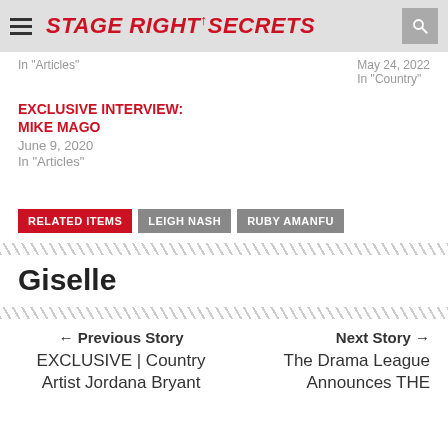STAGE RIGHT SECRETS
In "Articles"
May 24, 2022
In "Country"
EXCLUSIVE INTERVIEW: Mike Mago
June 9, 2020
In "Articles"
RELATED ITEMS
LEIGH NASH
RUBY AMANFU
Giselle
← Previous Story
EXCLUSIVE | Country Artist Jordana Bryant
Next Story →
The Drama League Announces THE